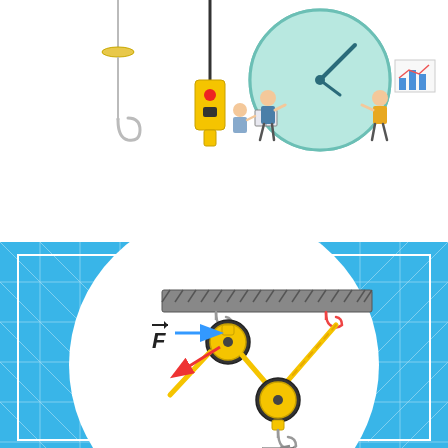[Figure (illustration): Top-left: crane hook and yellow crane control pendant hanging from cables. Top-right: people pushing a large clock/gear wheel (time management illustration). Bottom: pulley system diagram on blue grid background - two pulleys with yellow ropes/cables, force arrows labeled F (blue horizontal arrow right, red diagonal arrow left), weight mg hanging from bottom pulley with red downward arrow.]